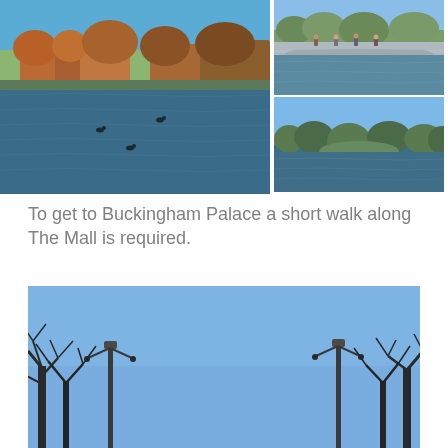[Figure (photo): Collage of three park photos showing a lake with trees in autumn colours and clear blue sky. Large photo on left shows lake with ducks and autumn trees. Top right shows a bridge with people over water. Bottom right shows another lake view with blue sky and bare trees.]
To get to Buckingham Palace a short walk along The Mall is required.
[Figure (photo): Wide photo looking up at a clear blue sky with bare winter trees framing the edges and lamp posts visible on both sides. The sky takes up most of the frame.]